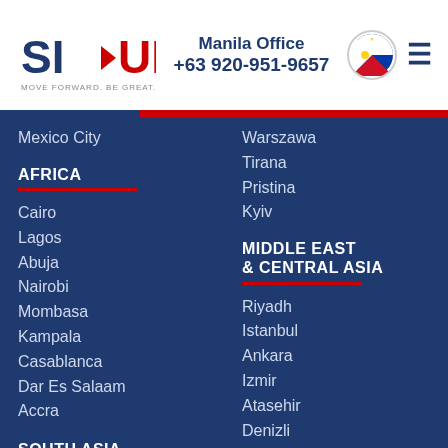SI-UK | Manila Office | +63 920-951-9657
Mexico City
AFRICA
Cairo
Lagos
Abuja
Nairobi
Mombasa
Kampala
Casablanca
Dar Es Salaam
Accra
SOUTH ASIA
Delhi
Mumbai
Bangalore
Chennai
Coimbatore
Pune
Jaipur
Hyderabad
Warszawa
Tirana
Pristina
Kyiv
MIDDLE EAST & CENTRAL ASIA
Riyadh
Istanbul
Ankara
Izmir
Atasehir
Denizli
Tashkent
Almaty
Baku
ASIA PACIFIC
Tokyo
Osaka
Bangkok
Chiang Mai